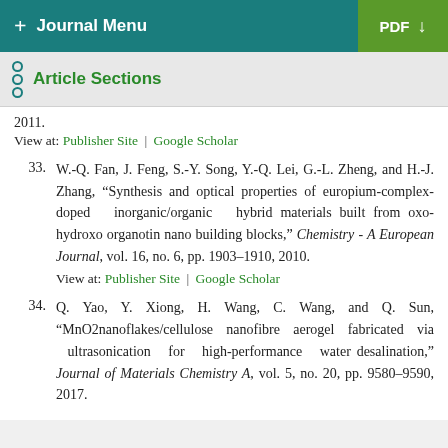+ Journal Menu | PDF
Article Sections
2011.
View at: Publisher Site | Google Scholar
33. W.-Q. Fan, J. Feng, S.-Y. Song, Y.-Q. Lei, G.-L. Zheng, and H.-J. Zhang, “Synthesis and optical properties of europium-complex-doped inorganic/organic hybrid materials built from oxo-hydroxo organotin nano building blocks,” Chemistry - A European Journal, vol. 16, no. 6, pp. 1903–1910, 2010.
View at: Publisher Site | Google Scholar
34. Q. Yao, Y. Xiong, H. Wang, C. Wang, and Q. Sun, “MnO2nanoflakes/cellulose nanofibre aerogel fabricated via ultrasonication for high-performance water desalination,” Journal of Materials Chemistry A, vol. 5, no. 20, pp. 9580–9590, 2017.